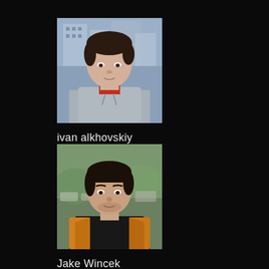[Figure (photo): Headshot photo of Ivan Alkhovskiy, a young man wearing a gray hoodie with a red shirt visible underneath, photographed outdoors with a city building in the background]
ivan alkhovskiy
Art Director
[Figure (photo): Headshot photo of Jake Wincek, a young man wearing a black shirt and yellow/orange jacket, photographed outdoors with a blurred background]
Jake Wincek